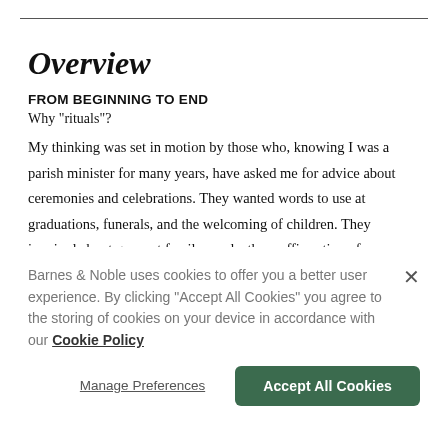Overview
FROM BEGINNING TO END
Why "rituals"?
My thinking was set in motion by those who, knowing I was a parish minister for many years, have asked me for advice about ceremonies and celebrations. They wanted words to use at graduations, funerals, and the welcoming of children. They inquired about grace at family meals, the reaffirmation of
Barnes & Noble uses cookies to offer you a better user experience. By clicking "Accept All Cookies" you agree to the storing of cookies on your device in accordance with our Cookie Policy
Manage Preferences
Accept All Cookies